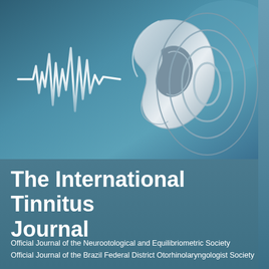[Figure (illustration): Medical journal cover illustration showing a stylized human ear with concentric oval sound wave rings emanating from it on a teal/steel blue background, alongside a white sound waveform/heartbeat line graphic on the left side.]
The International Tinnitus Journal
Official Journal of the Neurootological and Equilibriometric Society
Official Journal of the Brazil Federal District Otorhinolaryngologist Society